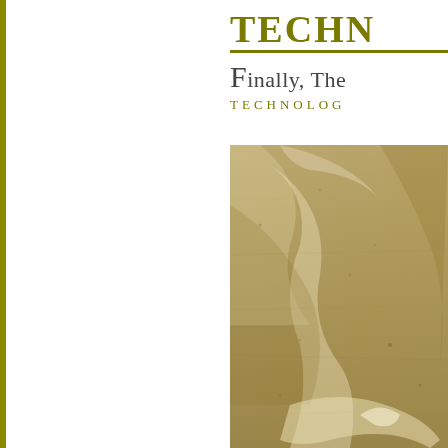Techn
Finally, The
TECHNOLOG
[Figure (photo): Close-up photograph of sandy, textured stone or rock surface with layered tan and beige tones, natural mineral patterns]